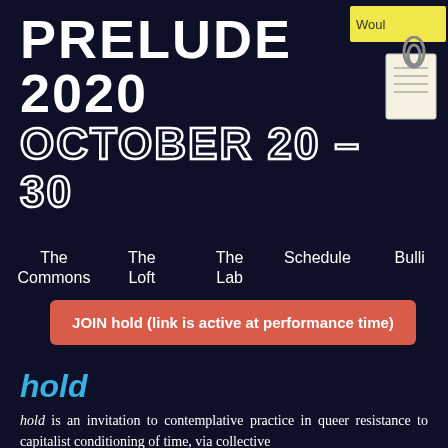PRELUDE 2020
OCTOBER 20 - 30
[Figure (illustration): Yellow sticky note with text 'Woul' and a paperclip/note icon in the upper right corner]
The Commons   The Loft   The Lab   Schedule   Bulli
JOIN hold (link is active at performance time)
hold
hold is an invitation to contemplative practice in queer resistance to capitalist conditioning of time, via collective